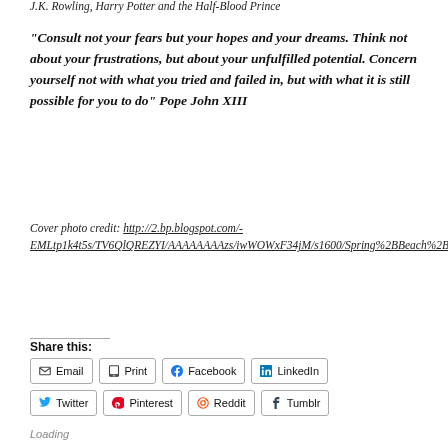J.K. Rowling, Harry Potter and the Half-Blood Prince
“Consult not your fears but your hopes and your dreams. Think not about your frustrations, but about your unfulfilled potential. Concern yourself not with what you tried and failed in, but with what it is still possible for you to do” Pope John XIII
Cover photo credit: http://2.bp.blogspot.com/-EMLtp1k4t5s/TV6QlQREZYI/AAAAAAAAzs/iwWOWxF34jM/s1600/Spring%2BBeach%2BWallp%2Blong%2Bgoodbye%2Bblog.png
Share this:
Email
Print
Facebook
LinkedIn
Twitter
Pinterest
Reddit
Tumblr
Loading